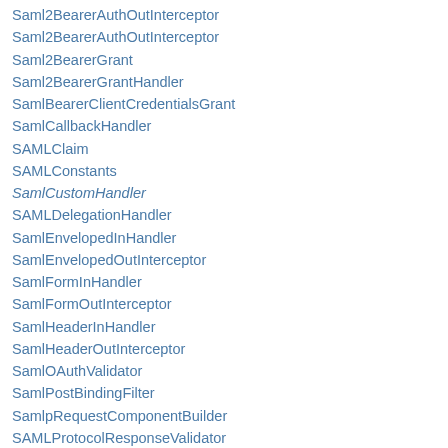Saml2BearerAuthOutInterceptor
Saml2BearerGrant
Saml2BearerGrantHandler
SamlBearerClientCredentialsGrant
SamlCallbackHandler
SAMLClaim
SAMLConstants
SamlCustomHandler
SAMLDelegationHandler
SamlEnvelopedInHandler
SamlEnvelopedOutInterceptor
SamlFormInHandler
SamlFormOutInterceptor
SamlHeaderInHandler
SamlHeaderOutInterceptor
SamlOAuthValidator
SamlPostBindingFilter
SamlpRequestComponentBuilder
SAMLProtocolResponseValidator
SAMLRealmCodec
SamlRedirectBindingFilter
SamlRequestComponentBuilder
SamlRequestInfo
SAMLRoleParser
SAMLSecurityContext
SamlSSOAssertionValidator
SAMLSSOResponseValidator
SamlTokenInterceptor